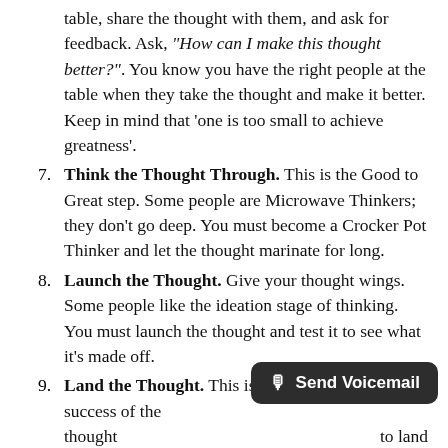table, share the thought with them, and ask for feedback. Ask, "How can I make this thought better?". You know you have the right people at the table when they take the thought and make it better. Keep in mind that 'one is too small to achieve greatness'.
7. Think the Thought Through. This is the Good to Great step. Some people are Microwave Thinkers; they don't go deep. You must become a Crocker Pot Thinker and let the thought marinate for long.
8. Launch the Thought. Give your thought wings. Some people like the ideation stage of thinking. You must launch the thought and test it to see what it's made off.
9. Land the Thought. This is essential. The key to the success of the thought is to land correctly. Ask yourself, "What do I want